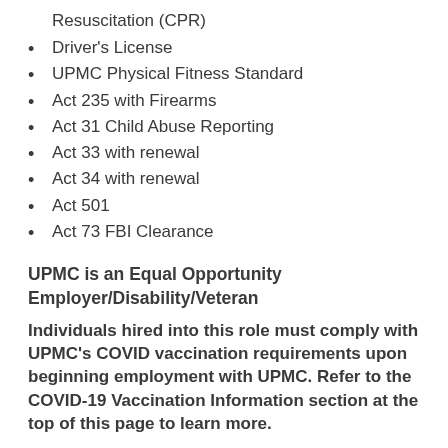Resuscitation (CPR)
Driver's License
UPMC Physical Fitness Standard
Act 235 with Firearms
Act 31 Child Abuse Reporting
Act 33 with renewal
Act 34 with renewal
Act 501
Act 73 FBI Clearance
UPMC is an Equal Opportunity Employer/Disability/Veteran
Individuals hired into this role must comply with UPMC's COVID vaccination requirements upon beginning employment with UPMC. Refer to the COVID-19 Vaccination Information section at the top of this page to learn more.